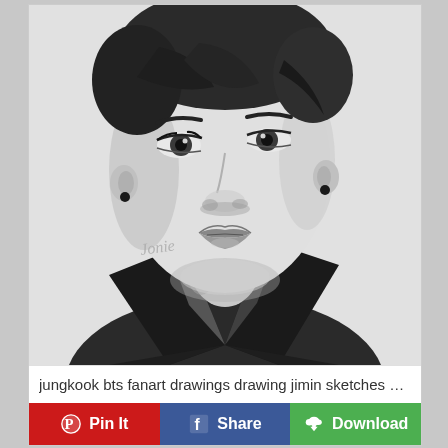[Figure (illustration): Pencil sketch portrait of a young East Asian man (BTS member Jungkook/Jimin fanart), wearing a dark jacket with collar, earrings in both ears, with a cursive signature 'Jonie' in the lower left area of the drawing. The sketch is done in graphite on white paper.]
jungkook bts fanart drawings drawing jimin sketches ea…
Pin It
Share
Download